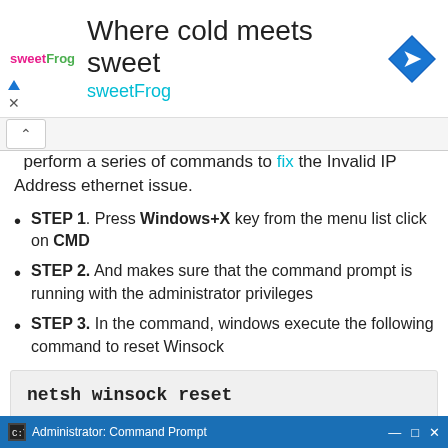[Figure (screenshot): sweetFrog advertisement banner with logo, tagline 'Where cold meets sweet', brand name 'sweetFrog', and a blue diamond navigation icon]
perform a series of commands to fix the Invalid IP Address ethernet issue.
STEP 1. Press Windows+X key from the menu list click on CMD
STEP 2. And makes sure that the command prompt is running with the administrator privileges
STEP 3. In the command, windows execute the following command to reset Winsock
netsh winsock reset
[Figure (screenshot): Windows taskbar showing Administrator: Command Prompt window with minimize, restore, and close buttons]